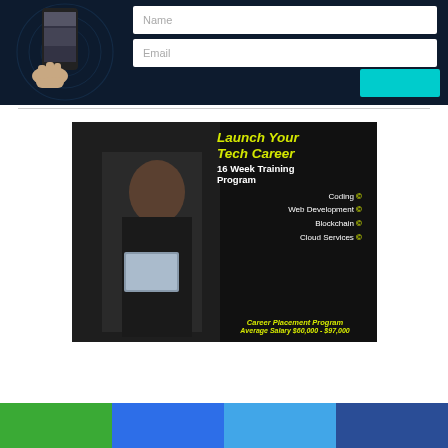[Figure (screenshot): Dark navy banner with a hand holding a smartphone showing a news feed, alongside Name and Email input fields and a teal submit button.]
[Figure (infographic): Advertisement for a tech career training program on black background with yellow brackets graphic. Text reads: Launch Your Tech Career, 16 Week Training Program, Coding, Web Development, Blockchain, Cloud Services, Career Placement Program, Average Salary $60,000 - $97,000. Shows woman holding tablet.]
[Figure (other): Social share bar with four colored buttons: green, blue (Facebook), light blue (Twitter), dark blue.]